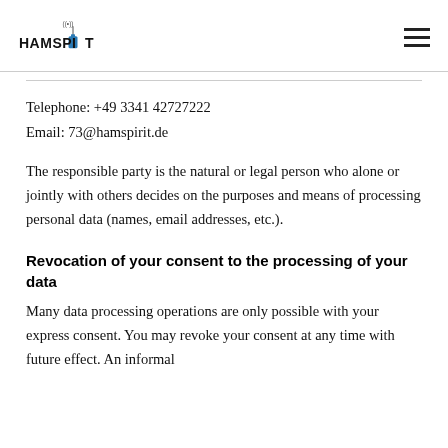HAMSPIRIT [logo]
Telephone: +49 3341 42727222
Email: 73@hamspirit.de
The responsible party is the natural or legal person who alone or jointly with others decides on the purposes and means of processing personal data (names, email addresses, etc.).
Revocation of your consent to the processing of your data
Many data processing operations are only possible with your express consent. You may revoke your consent at any time with future effect. An informal